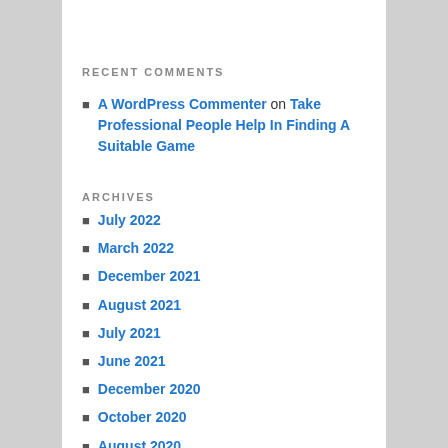RECENT COMMENTS
A WordPress Commenter on Take Professional People Help In Finding A Suitable Game
ARCHIVES
July 2022
March 2022
December 2021
August 2021
July 2021
June 2021
December 2020
October 2020
August 2020
June 2020
May 2020
February 2020
December 2019
October 2019